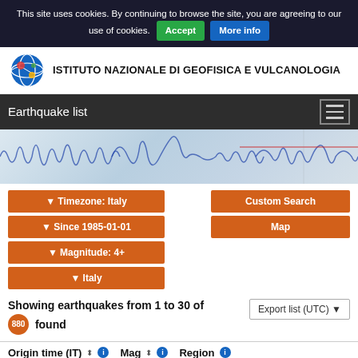This site uses cookies. By continuing to browse the site, you are agreeing to our use of cookies. Accept More info
ISTITUTO NAZIONALE DI GEOFISICA E VULCANOLOGIA
Earthquake list
[Figure (photo): Seismograph paper recording showing blue seismic waveforms]
▼ Timezone: Italy
▼ Since 1985-01-01
▼ Magnitude: 4+
▼ Italy
Custom Search
Map
Showing earthquakes from 1 to 30 of 880 found
Export list (UTC) ▼
| Origin time (IT) | Mag | Region |
| --- | --- | --- |